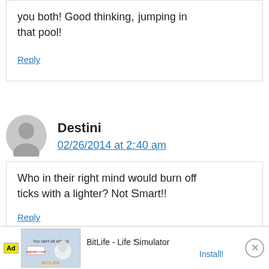you both! Good thinking, jumping in that pool!
Reply
Destini
02/26/2014 at 2:40 am
Who in their right mind would burn off ticks with a lighter? Not Smart!!
Reply
[Figure (screenshot): Ad banner: BitLife - Life Simulator app advertisement with Install button and close (X) button]